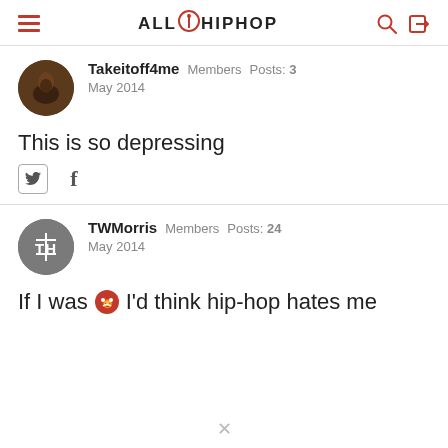ALL HIP HOP
Takeitoff4me   Members   Posts: 3
May 2014
This is so depressing
TWMorris   Members   Posts: 24
May 2014
If I was [emoji] I'd think hip-hop hates me